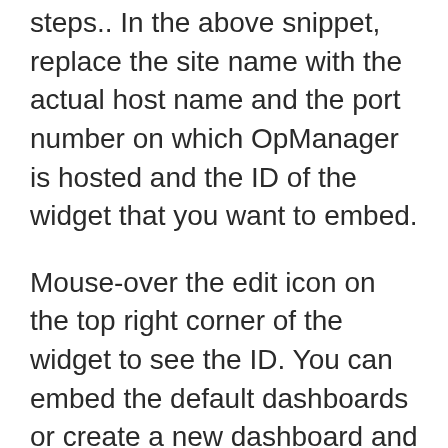steps.. In the above snippet, replace the site name with the actual host name and the port number on which OpManager is hosted and the ID of the widget that you want to embed.
Mouse-over the edit icon on the top right corner of the widget to see the ID. You can embed the default dashboards or create a new dashboard and embed. Replace the user name, password and the dashboard ID. Access the required dashboard from the WebClient to see the ID passed in the url. In VoIP Monitor, business views help you to know the status of the device and call path between devices at a glance.
Whenever a new VoIP monitor is created, a business view image shown below of it also gets